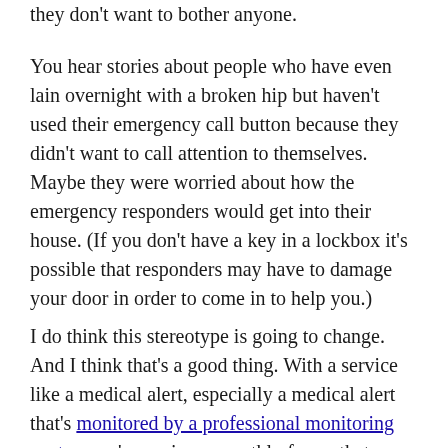they don't want to bother anyone.
You hear stories about people who have even lain overnight with a broken hip but haven't used their emergency call button because they didn't want to call attention to themselves. Maybe they were worried about how the emergency responders would get into their house. (If you don't have a key in a lockbox it's possible that responders may have to damage your door in order to come in to help you.)
I do think this stereotype is going to change. And I think that's a good thing. With a service like a medical alert, especially a medical alert that's monitored by a professional monitoring center, you're paying a monthly fee so that people will